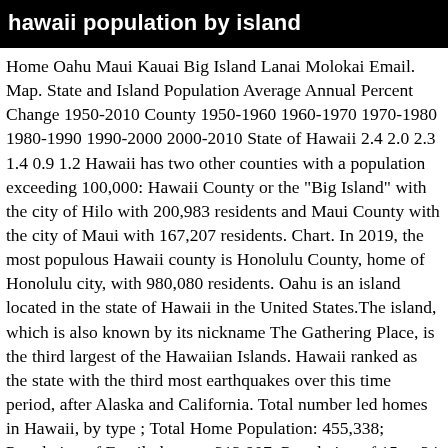hawaii population by island
Home Oahu Maui Kauai Big Island Lanai Molokai Email. Map. State and Island Population Average Annual Percent Change 1950-2010 County 1950-1960 1960-1970 1970-1980 1980-1990 1990-2000 2000-2010 State of Hawaii 2.4 2.0 2.3 1.4 0.9 1.2 Hawaii has two other counties with a population exceeding 100,000: Hawaii County or the "Big Island" with the city of Hilo with 200,983 residents and Maui County with the city of Maui with 167,207 residents. Chart. In 2019, the most populous Hawaii county is Honolulu County, home of Honolulu city, with 980,080 residents. Oahu is an island located in the state of Hawaii in the United States.The island, which is also known by its nickname The Gathering Place, is the third largest of the Hawaiian Islands. Hawaii ranked as the state with the third most earthquakes over this time period, after Alaska and California. Total number led homes in Hawaii, by type ; Total Home Population: 455,338; Population of Family homes: 313,907; Population of 15 to 24 year olds: 8,864 Dashboard. Housing unit